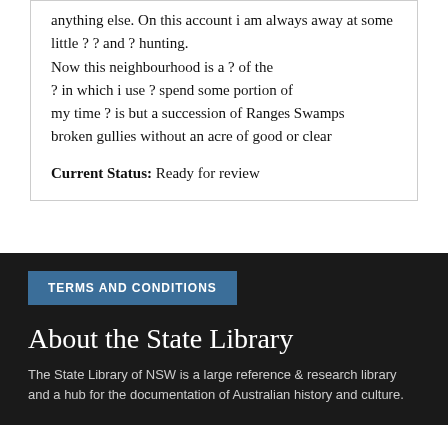anything else. On this account i am always away at some little ? ? and ? hunting. Now this neighbourhood is a ? of the ? in which i use ? spend some portion of my time ? is but a succession of Ranges Swamps broken gullies without an acre of good or clear
Current Status: Ready for review
TERMS AND CONDITIONS
About the State Library
The State Library of NSW is a large reference & research library and a hub for the documentation of Australian history and culture.